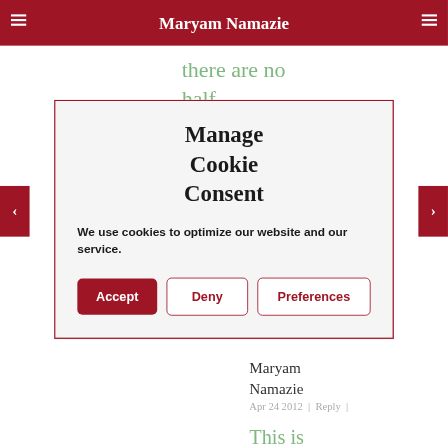Maryam Namazie
there are no half
Manage Cookie Consent
We use cookies to optimize our website and our service.
Accept | Deny | Preferences
Maryam Namazie
Apr 24 2012 | Reply |
This is